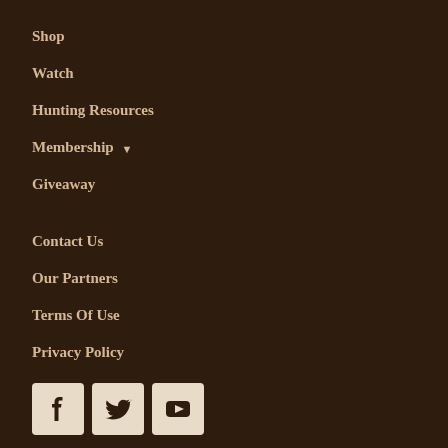Shop
Watch
Hunting Resources
Membership ▾
Giveaway
Contact Us
Our Partners
Terms Of Use
Privacy Policy
[Figure (other): Social media icons: Facebook, Twitter, YouTube]